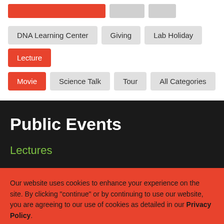DNA Learning Center
Giving
Lab Holiday
Lecture
Movie
Science Talk
Tour
All Categories
Public Events
Lectures
Our website uses cookies to enhance your experience on the site. By clicking "continue" or by continuing to use our website, you are agreeing to our use of cookies as detailed in our Privacy Policy.
CONTINUE